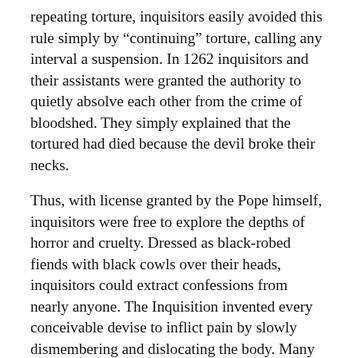repeating torture, inquisitors easily avoided this rule simply by “continuing” torture, calling any interval a suspension. In 1262 inquisitors and their assistants were granted the authority to quietly absolve each other from the crime of bloodshed. They simply explained that the tortured had died because the devil broke their necks.
Thus, with license granted by the Pope himself, inquisitors were free to explore the depths of horror and cruelty. Dressed as black-robed fiends with black cowls over their heads, inquisitors could extract confessions from nearly anyone. The Inquisition invented every conceivable devise to inflict pain by slowly dismembering and dislocating the body. Many of the devices were inscribed with the motto “Glory be only to God.” The rack, the hoist, and the water tortures were the most common. Victims were rubbed with lard on some body parts to die. O...